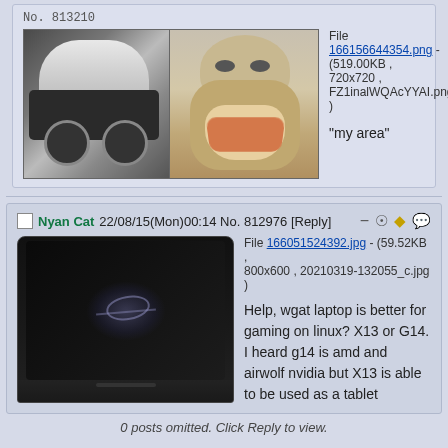No. 813210
[Figure (photo): Two-panel image: left side shows a white scooter/motorcycle from above, right side shows Shrek's Donkey character face close-up smiling]
File 166156644354.png - (519.00KB , 720x720 , FZ1inalWQAcYYAI.png )
"my area"
Nyan Cat 22/08/15(Mon)00:14 No. 812976 [Reply]
[Figure (photo): ASUS ROG gaming laptop with ROG logo visible on dark screen, photographed against dark background]
File 166051524392.jpg - (59.52KB , 800x600 , 20210319-132055_c.jpg )
Help, wgat laptop is better for gaming on linux? X13 or G14. I heard g14 is amd and airwolf nvidia but X13 is able to be used as a tablet
0 posts omitted. Click Reply to view.